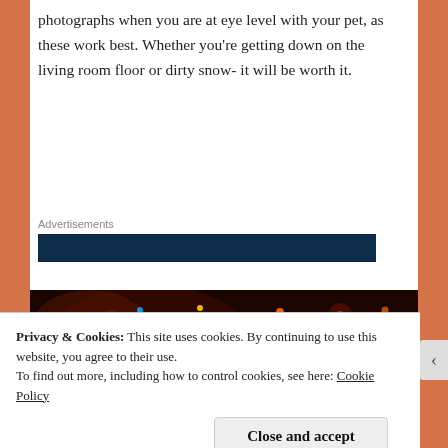photographs when you are at eye level with your pet, as these work best. Whether you're getting down on the living room floor or dirty snow- it will be worth it.
[Figure (other): Advertisements banner with dark teal/navy background]
[Figure (photo): Dark photograph showing colorful Christmas tree lights with blurred background, orange and red tones]
Privacy & Cookies: This site uses cookies. By continuing to use this website, you agree to their use.
To find out more, including how to control cookies, see here: Cookie Policy
Close and accept